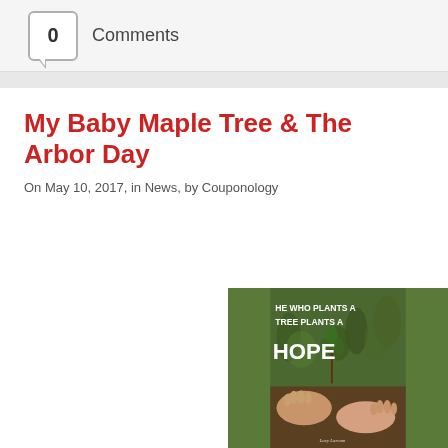0 Comments
My Baby Maple Tree & The Arbor Day
On May 10, 2017, in News, by Couponology
[Figure (photo): Photo of hands holding a small tree seedling in grass with overlaid quote text: 'HE WHO PLANTS A TREE PLANTS A HOPE' attributed to Lucy Larcom]